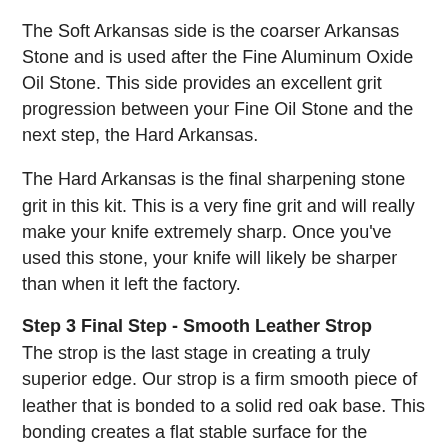The Soft Arkansas side is the coarser Arkansas Stone and is used after the Fine Aluminum Oxide Oil Stone. This side provides an excellent grit progression between your Fine Oil Stone and the next step, the Hard Arkansas.
The Hard Arkansas is the final sharpening stone grit in this kit. This is a very fine grit and will really make your knife extremely sharp. Once you've used this stone, your knife will likely be sharper than when it left the factory.
Step 3 Final Step - Smooth Leather Strop
The strop is the last stage in creating a truly superior edge. Our strop is a firm smooth piece of leather that is bonded to a solid red oak base. This bonding creates a flat stable surface for the leather and allows you to use your strop as you would a sharpening stone.
Before using your strop, you need to first apply the Green Honing Compound. You apply the compound like